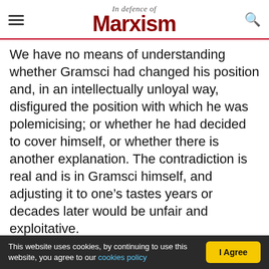In Defence of Marxism
We have no means of understanding whether Gramsci had changed his position and, in an intellectually unloyal way, disfigured the position with which he was polemicising; or whether he had decided to cover himself, or whether there is another explanation. The contradiction is real and is in Gramsci himself, and adjusting it to one’s tastes years or decades later would be unfair and exploitative.
Gramsci's characterisation of the permanent revolution as a kind of 'offensive theory' is without foundation. Gramsci attributes to Trotsky the
This website uses cookies, by continuing to use this website, you agree to our cookies policy